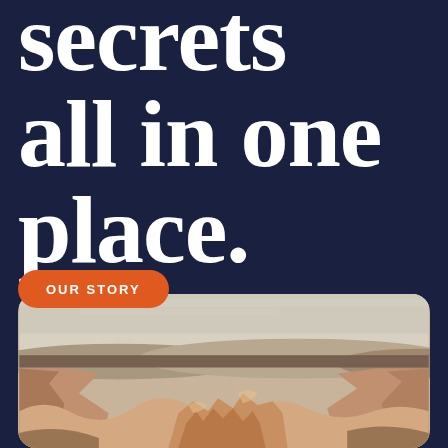secrets all in one place.
OUR STORY
[Figure (photo): Landscape photo of a canyon with reddish rocky formations in the foreground and a pale sky with distant hills in the background, displayed in a rounded-corner card.]